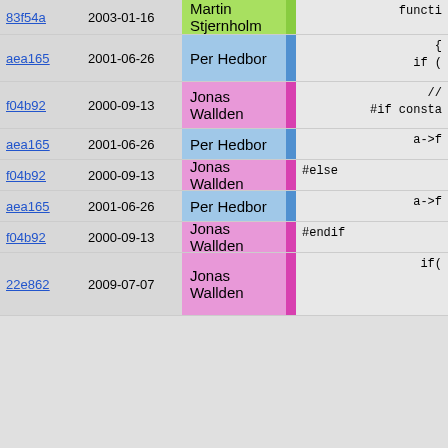| hash | date | author | strip | code |
| --- | --- | --- | --- | --- |
| 83f54a | 2003-01-16 | Martin Stjernholm | green | functi |
| aea165 | 2001-06-26 | Per Hedbor | blue | {
    if ( |
| f04b92 | 2000-09-13 | Jonas Wallden | pink | //
#if consta |
| aea165 | 2001-06-26 | Per Hedbor | blue | a->f |
| f04b92 | 2000-09-13 | Jonas Wallden | pink | #else |
| aea165 | 2001-06-26 | Per Hedbor | blue | a->f |
| f04b92 | 2000-09-13 | Jonas Wallden | pink | #endif |
| 22e862 | 2009-07-07 | Jonas Wallden | pink | if( |
| aea165 | 2001-06-26 | Per Hedbor | blue | //
//
a[
}; |
| 4afcd4 | 2001-08-09 | Per Hedbor | blue | if( ma
{ |
| aea165 | 2001-06-26 | Per Hedbor | blue | upda |
| 6159fc | 2009-11-24 | Henrik Grubbström (Grubba) | green | ci = |
| 4afcd4 | 2001-08-09 | Per Hedbor | blue | } |